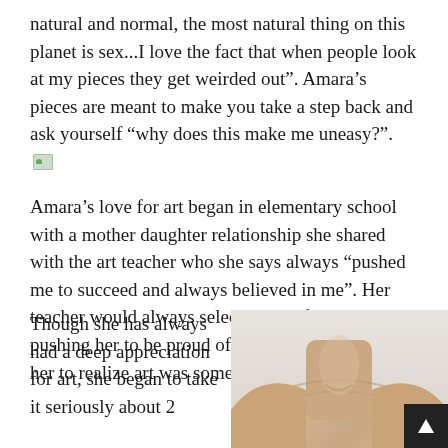natural and normal, the most natural thing on this planet is sex...I love the fact that when people look at my pieces they get weirded out”. Amara’s pieces are meant to make you take a step back and ask yourself “why does this make me uneasy?”.
Amara’s love for art began in elementary school with a mother daughter relationship she shared with the art teacher who she says always “pushed me to succeed and always believed in me”. Her teacher would always select Amara for art shows, pushing her to be proud of her work and helping her to realize art was something she was good at.
Though she has always had a deep appreciation for art, she began to take it seriously about 2
[Figure (photo): A close-up photograph of a human torso/neck area, showing skin texture in warm flesh tones against a light background.]